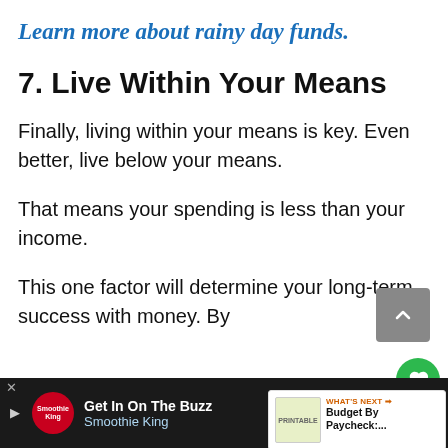Learn more about rainy day funds.
7. Live Within Your Means
Finally, living within your means is key. Even better, live below your means.
That means your spending is less than your income.
This one factor will determine your long-term success with money. By s...
[Figure (screenshot): Scroll-to-top button (grey rounded square with up chevron)]
[Figure (screenshot): Heart/like button (green circle with heart icon)]
[Figure (screenshot): Share button (light circle with share icon)]
[Figure (screenshot): What's Next widget: Budget By Paycheck article preview]
[Figure (screenshot): Advertisement bar: Get In On The Buzz - Smoothie King]